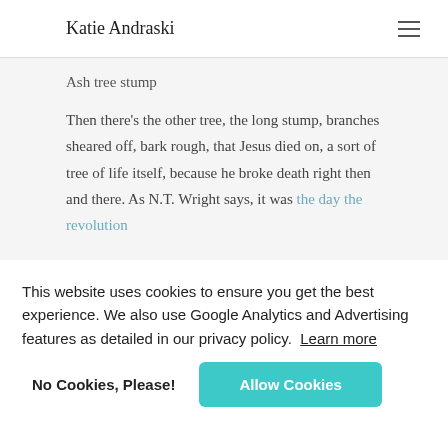Katie Andraski
Ash tree stump
Then there's the other tree, the long stump, branches sheared off, bark rough, that Jesus died on, a sort of tree of life itself, because he broke death right then and there. As N.T. Wright says, it was the day the revolution
This website uses cookies to ensure you get the best experience. We also use Google Analytics and Advertising features as detailed in our privacy policy. Learn more
No Cookies, Please!  Allow Cookies